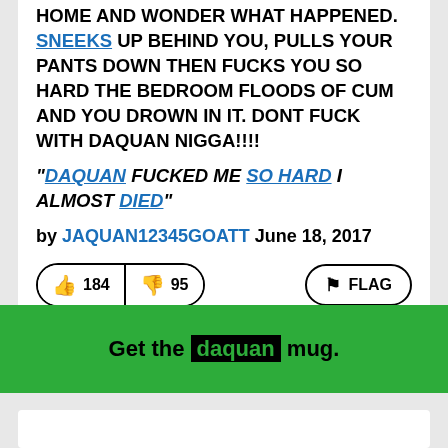HOME AND WONDER WHAT HAPPENED. DAQUAN SNEEKS UP BEHIND YOU, PULLS YOUR PANTS DOWN THEN FUCKS YOU SO HARD THE BEDROOM FLOODS OF CUM AND YOU DROWN IN IT. DONT FUCK WITH DAQUAN NIGGA!!!!
"DAQUAN FUCKED ME SO HARD I ALMOST DIED"
by JAQUAN12345GOATT June 18, 2017
thumbs up 184 | thumbs down 95 | FLAG
Get the daquan mug.